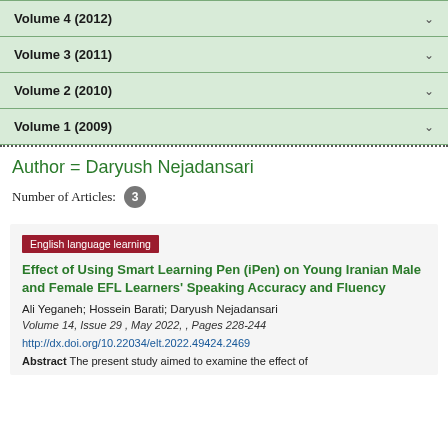Volume 4 (2012)
Volume 3 (2011)
Volume 2 (2010)
Volume 1 (2009)
Author = Daryush Nejadansari
Number of Articles: 3
English language learning
Effect of Using Smart Learning Pen (iPen) on Young Iranian Male and Female EFL Learners' Speaking Accuracy and Fluency
Ali Yeganeh; Hossein Barati; Daryush Nejadansari
Volume 14, Issue 29 , May 2022, , Pages 228-244
http://dx.doi.org/10.22034/elt.2022.49424.2469
Abstract The present study aimed to examine the effect of